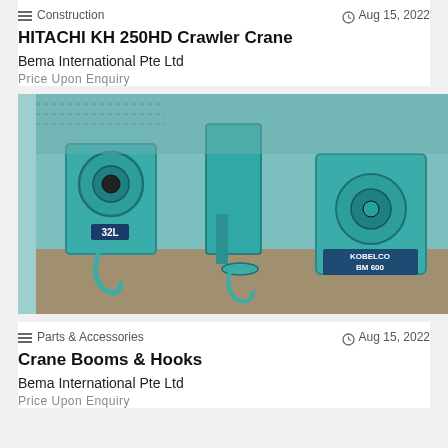Construction  Aug 15, 2022
HITACHI KH 250HD Crawler Crane
Bema International Pte Ltd
Price Upon Enquiry
[Figure (photo): Photo of multiple teal/turquoise crane hooks and pulleys (block and tackle assemblies) laid out on a concrete surface, with labels '32L' and 'KOBELCO BM 600' visible on the equipment.]
Parts & Accessories  Aug 15, 2022
Crane Booms & Hooks
Bema International Pte Ltd
Price Upon Enquiry